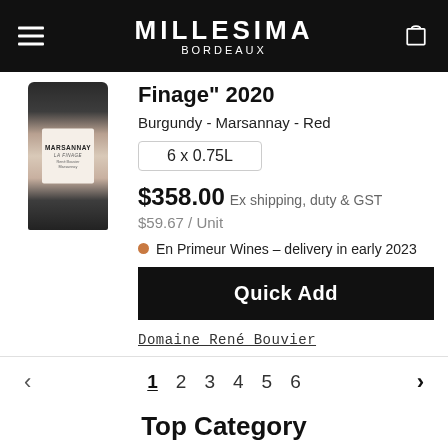MILLESIMA BORDEAUX
Finage" 2020
Burgundy - Marsannay - Red
6 x 0.75L
$358.00 Ex shipping, duty & GST
$59.67 / Unit
En Primeur Wines – delivery in early 2023
Quick Add
Domaine René Bouvier
1 2 3 4 5 6
Top Category